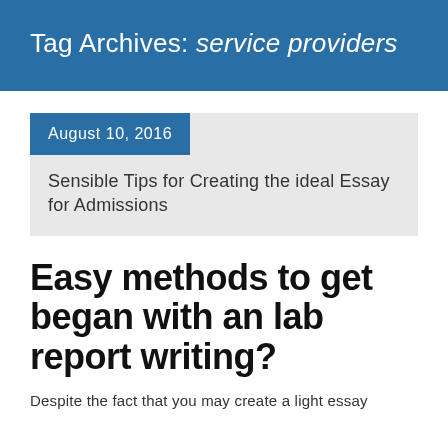Tag Archives: service providers
August 10, 2016
Sensible Tips for Creating the ideal Essay for Admissions
Easy methods to get began with an lab report writing?
Despite the fact that you may create a light essay